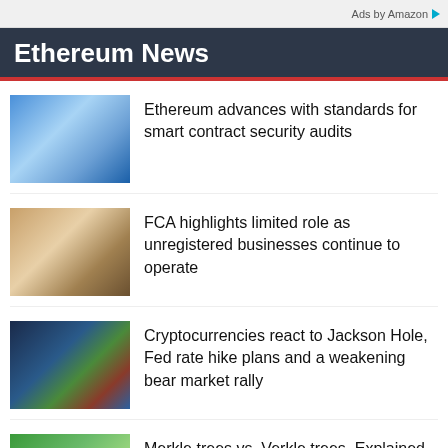Ads by Amazon
Ethereum News
Ethereum advances with standards for smart contract security audits
FCA highlights limited role as unregistered businesses continue to operate
Cryptocurrencies react to Jackson Hole, Fed rate hike plans and a weakening bear market rally
Merkle trees vs. Verkle trees, Explained